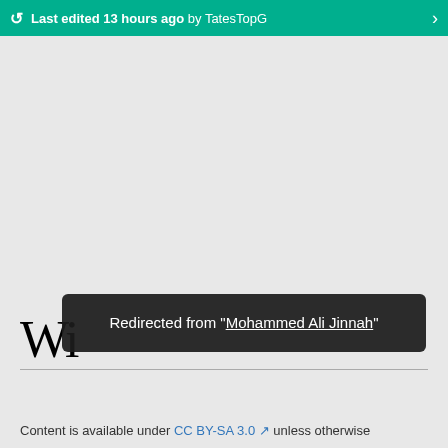Last edited 13 hours ago by TatesTopG
Wi
Redirected from "Mohammed Ali Jinnah"
Content is available under CC BY-SA 3.0 unless otherwise